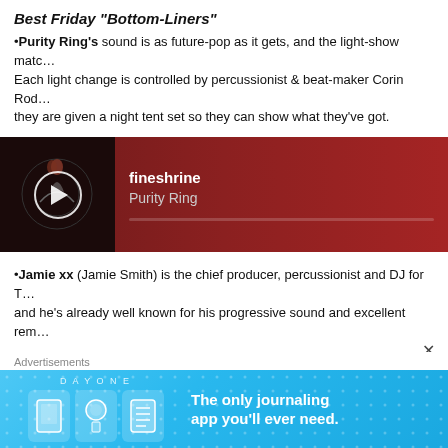Best Friday “Bottom-Liners”
•Purity Ring’s sound is as future-pop as it gets, and the light-show matc… Each light change is controlled by percussionist & beat-maker Corin Rod… they are given a night tent set so they can show what they’ve got.
[Figure (screenshot): Music player card showing 'fineshrine' by Purity Ring with dark red background and album art]
•Jamie xx (Jamie Smith) is the chief producer, percussionist and DJ for T… and he’s already well known for his progressive sound and excellent rem…
[Figure (screenshot): Music player card showing 'Bloom - Jamie xx Rework Part 3' by Radiohead with dark gray background]
Advertisements
[Figure (screenshot): DayOne app advertisement banner with light blue background showing icons and text 'The only journaling app you’ll ever need.']